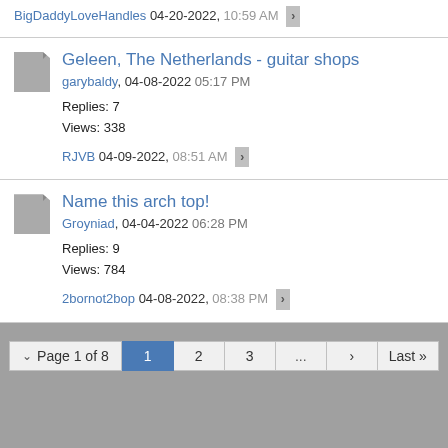BigDaddyLoveHandles 04-20-2022, 10:59 AM
Geleen, The Netherlands - guitar shops
garybaldy, 04-08-2022 05:17 PM
Replies: 7
Views: 338
RJVB 04-09-2022, 08:51 AM
Name this arch top!
Groyniad, 04-04-2022 06:28 PM
Replies: 9
Views: 784
2bornot2bop 04-08-2022, 08:38 PM
Page 1 of 8  1 2 3 ... > Last >>